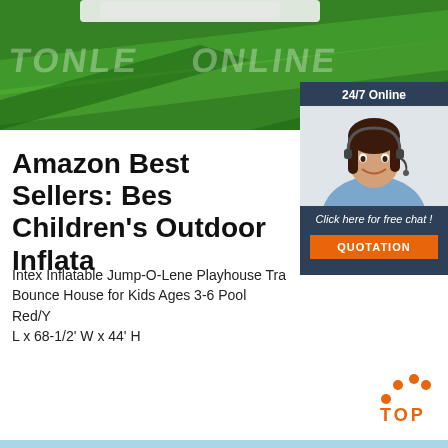[Figure (photo): Green artificial grass field with white inflatable object partially visible at top. Watermark text 'TONLE ONLINE' overlaid in faded white.]
[Figure (infographic): 24/7 Online chat panel with female customer service agent photo, 'Click here for free chat!' text, and orange QUOTATION button.]
Amazon Best Sellers: Best Children's Outdoor Inflata...
Intex Inflatable Jump-O-Lene Playhouse Tra... Bounce House for Kids Ages 3-6 Pool Red/Y... L x 68-1/2' W x 44' H
[Figure (other): Orange 'Get Price' button]
[Figure (other): Orange 'TOP' button with dot-arc icon above text]